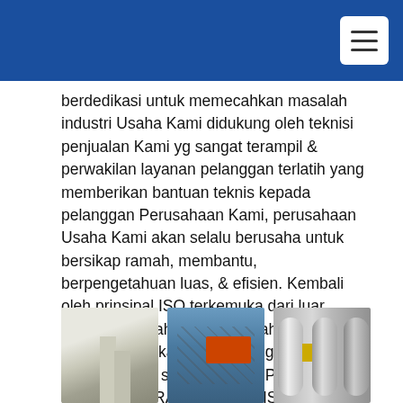[Figure (screenshot): Blue navigation header bar with white hamburger menu button in top right corner]
berdedikasi untuk memecahkan masalah industri Usaha Kami didukung oleh teknisi penjualan Kami yg sangat terampil & perwakilan layanan pelanggan terlatih yang memberikan bantuan teknis kepada pelanggan Perusahaan Kami, perusahaan Usaha Kami akan selalu berusaha untuk bersikap ramah, membantu, berpengetahuan luas, & efisien. Kembali oleh prinsipal ISO terkemuka dari luar negeri. Perusahaan Kami telah mempertahankan tingkat pengetahuan tertinggi pada semua produk PT. KHARISMAPRATAMA ABADISEJATINDO.
[Figure (photo): Three industrial/structural photos shown in a row at the bottom: left shows structural columns/beams, center shows industrial ceiling with orange equipment, right shows metallic pipes or cylinders]